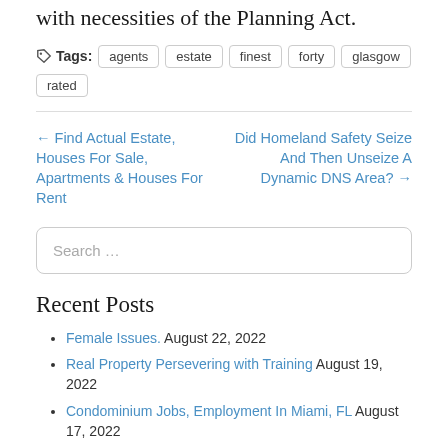with necessities of the Planning Act.
Tags: agents  estate  finest  forty  glasgow  rated
← Find Actual Estate, Houses For Sale, Apartments & Houses For Rent
Did Homeland Safety Seize And Then Unseize A Dynamic DNS Area? →
Search ...
Recent Posts
Female Issues. August 22, 2022
Real Property Persevering with Training August 19, 2022
Condominium Jobs, Employment In Miami, FL August 17, 2022
Www.aail.ga August 14, 2022